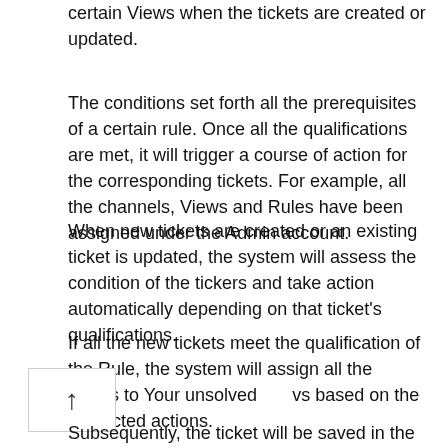certain Views when the tickets are created or updated.
The conditions set forth all the prerequisites of a certain rule. Once all the qualifications are met, it will trigger a course of action for the corresponding tickets. For example, all the channels, Views and Rules have been assigned under the Admin account.
When new tickets are created or an existing ticket is updated, the system will assess the condition of the tickers and take action automatically depending on that ticket's qualifications.
If all the new tickets meet the qualification of the Rule, the system will assign all the tickets to Your unsolved vs based on the instructed actions.
Subsequently, the ticket will be saved in the Default